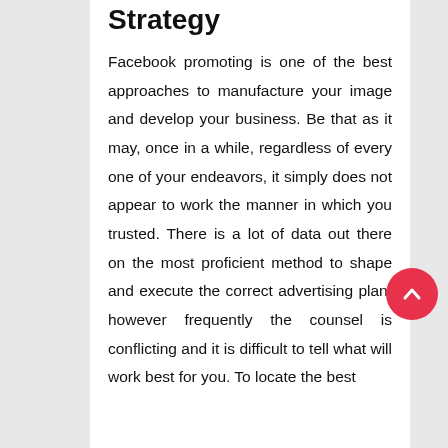Strategy
Facebook promoting is one of the best approaches to manufacture your image and develop your business. Be that as it may, once in a while, regardless of every one of your endeavors, it simply does not appear to work the manner in which you trusted. There is a lot of data out there on the most proficient method to shape and execute the correct advertising plan, however frequently the counsel is conflicting and it is difficult to tell what will work best for you. To locate the best